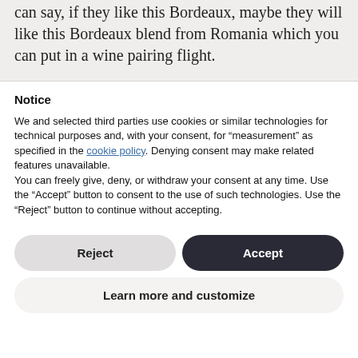...automatically your customers' palate then you can say, if they like this Bordeaux, maybe they will like this Bordeaux blend from Romania which you can put in a wine pairing flight.
Notice
We and selected third parties use cookies or similar technologies for technical purposes and, with your consent, for “measurement” as specified in the cookie policy. Denying consent may make related features unavailable.
You can freely give, deny, or withdraw your consent at any time. Use the “Accept” button to consent to the use of such technologies. Use the “Reject” button to continue without accepting.
Reject
Accept
Learn more and customize